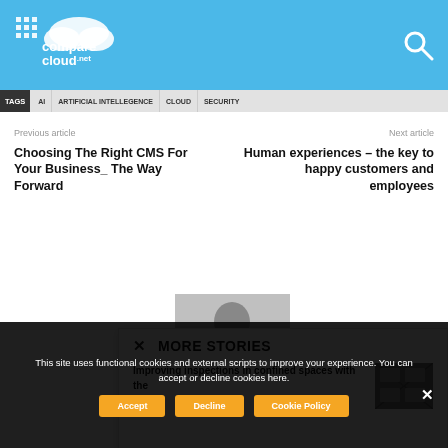comparecloud.net
TAGS | AI | ARTIFICIAL INTELLEGENCE | CLOUD | SECURITY
Previous article
Choosing The Right CMS For Your Business_ The Way Forward
Next article
Human experiences – the key to happy customers and employees
[Figure (other): Modal popup with MORE STORIES heading and article preview: Improving inspections in confined spaces with the]
This site uses functional cookies and external scripts to improve your experience. You can accept or decline cookies here.